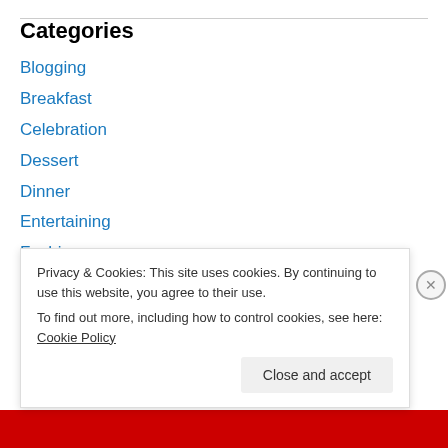Categories
Blogging
Breakfast
Celebration
Dessert
Dinner
Entertaining
Fashion
Fitness
Privacy & Cookies: This site uses cookies. By continuing to use this website, you agree to their use.
To find out more, including how to control cookies, see here: Cookie Policy
Close and accept